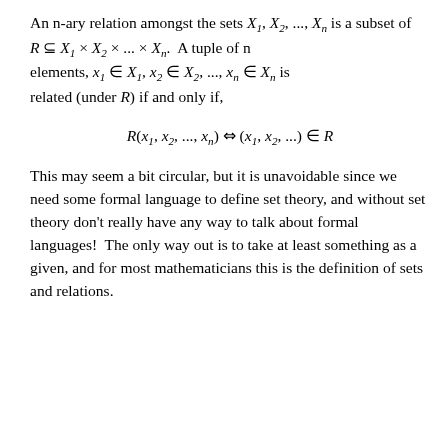An n-ary relation amongst the sets X₁, X₂, ..., Xₙ is a subset of R ⊆ X₁ × X₂ × ... × Xₙ. A tuple of n elements, x₁ ∈ X₁, x₂ ∈ X₂, ..., xₙ ∈ Xₙ is related (under R) if and only if,
This may seem a bit circular, but it is unavoidable since we need some formal language to define set theory, and without set theory don't really have any way to talk about formal languages!  The only way out is to take at least something as a given, and for most mathematicians this is the definition of sets and relations.